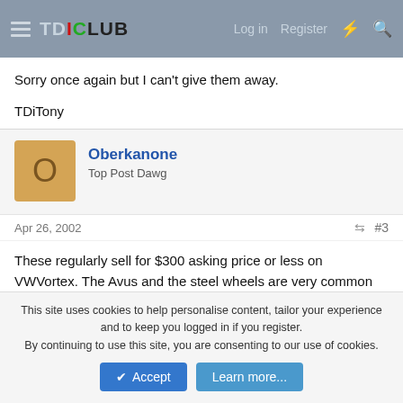TDICLUB – Log in  Register
Sorry once again but I can't give them away.

TDiTony
Oberkanone
Top Post Dawg
Apr 26, 2002  #3
These regularly sell for $300 asking price or less on VWVortex. The Avus and the steel wheels are very common as they usually end up setting in the garage when people upgrade wheels.
Route 66
This site uses cookies to help personalise content, tailor your experience and to keep you logged in if you register.
By continuing to use this site, you are consenting to our use of cookies.